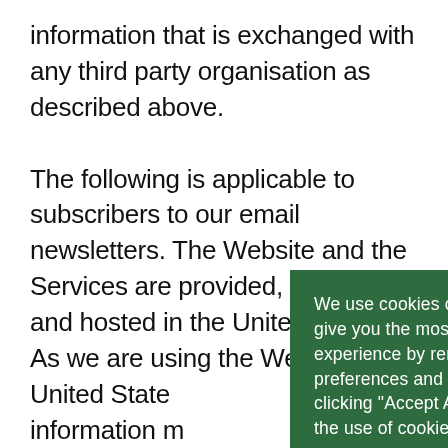information that is exchanged with any third party organisation as described above.

The following is applicable to subscribers to our email newsletters. The Website and the Services are provided, supported, and hosted in the United States. As we are using the Website [obscured] United State[s obscured] information m[ay be obscured] and processe[d obscured] facilities and [obscured] whom they m[ay obscured] Information,
We use cookies on our website to give you the most relevant experience by remembering your preferences and repeat visits. By clicking "Accept All", you consent to the use of cookies. Privacy Policy

Accept All